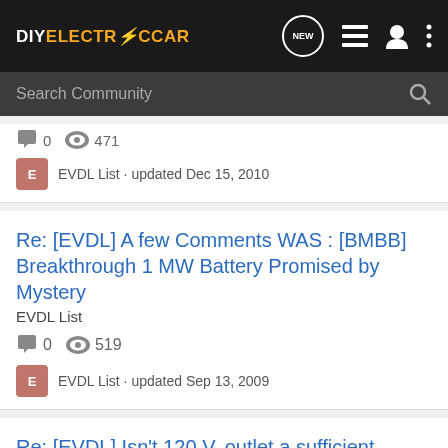DIYELECTRiCCAR — navigation bar with logo, NEW, list, user, and more icons
Search Community
0  471
EVDL List · updated Dec 15, 2010
Re: [EVDL] A few Comments WAS : [BMBB] Breakthrough 1 MW Battery Promised by Mystery
EVDL List
0  519
EVDL List · updated Sep 13, 2009
Re: [EVDL] Isn't 120 V. outlet a sufficient "EVSE" ?
EVDL List
0  438